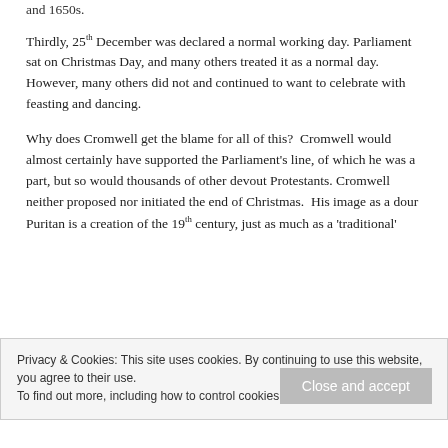and 1650s.
Thirdly, 25th December was declared a normal working day. Parliament sat on Christmas Day, and many others treated it as a normal day.  However, many others did not and continued to want to celebrate with feasting and dancing.
Why does Cromwell get the blame for all of this?  Cromwell would almost certainly have supported the Parliament’s line, of which he was a part, but so would thousands of other devout Protestants. Cromwell neither proposed nor initiated the end of Christmas.  His image as a dour Puritan is a creation of the 19th century, just as much as a ‘traditional’
Privacy & Cookies: This site uses cookies. By continuing to use this website, you agree to their use.
To find out more, including how to control cookies, see here: Cookie Policy
Close and accept